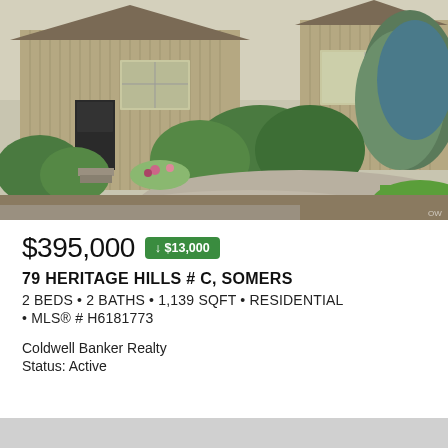[Figure (photo): Exterior photo of a tan/beige wood-sided townhouse with green shrubs, flowers, gravel driveway, and green lawn. Trees visible on the right side.]
$395,000 ↓ $13,000
79 HERITAGE HILLS # C, SOMERS
2 BEDS • 2 BATHS • 1,139 SQFT • RESIDENTIAL • MLS® # H6181773
Coldwell Banker Realty
Status: Active
[Figure (photo): Bottom strip of a second property photo, partially visible, gray/muted tones.]